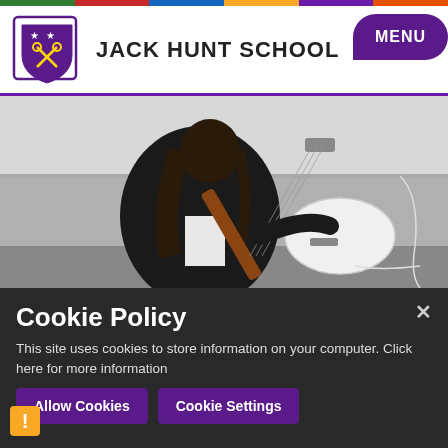JACK HUNT SCHOOL
[Figure (photo): A student playing a white electric guitar in a classroom, wearing a black school uniform blazer.]
Cookie Policy
This site uses cookies to store information on your computer. Click here for more information
Allow Cookies   Cookie Settings